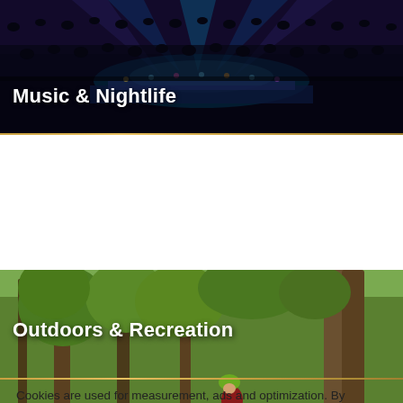[Figure (photo): Concert/arena scene with colorful stage lights and audience, dark atmosphere with blue and purple lighting]
Music & Nightlife
[Figure (photo): Family riding bicycles on a forest trail, children wearing helmets, lush green trees in background]
Outdoors & Recreation
Cookies are used for measurement, ads and optimization. By continuing to use our site you agree to our privacy policy.
Accept ›